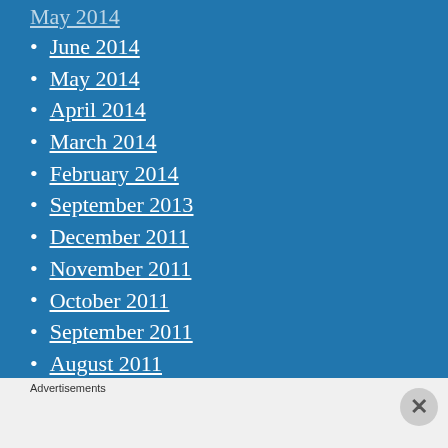June 2014
May 2014
April 2014
March 2014
February 2014
September 2013
December 2011
November 2011
October 2011
September 2011
August 2011
July 2011
June 2011
Advertisements
[Figure (photo): Victoria's Secret advertisement banner with a woman's photo, VS logo, text SHOP THE COLLECTION, and a SHOP NOW button]